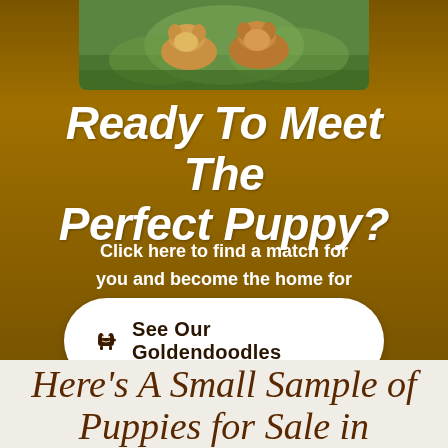[Figure (photo): Photo of golden retriever/goldendoodle puppies on green grass]
Ready To Meet The Perfect Puppy?
Click here to find a match for you and become the home for your new puppy!
🐕 See Our Goldendoodles
Here's A Small Sample of Puppies for Sale in